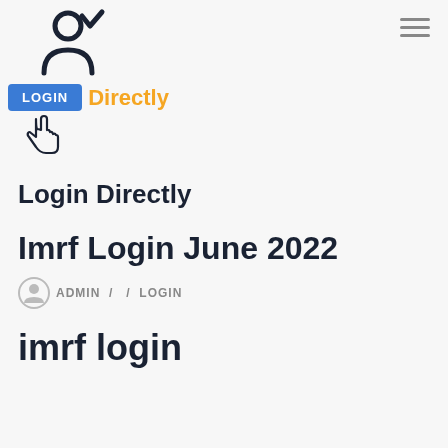[Figure (logo): Login Directly website logo: person icon with checkmark above, a blue LOGIN button with hand cursor, and orange 'Directly' text]
Login Directly
Imrf Login June 2022
ADMIN / / LOGIN
imrf login